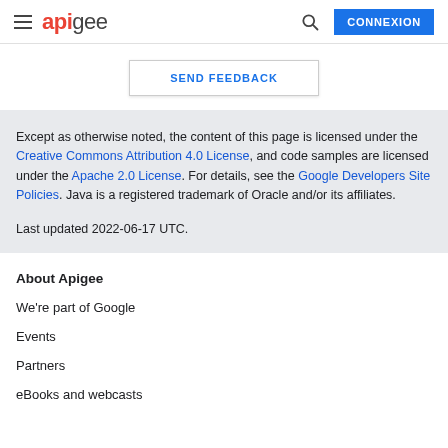apigee | CONNEXION
SEND FEEDBACK
Except as otherwise noted, the content of this page is licensed under the Creative Commons Attribution 4.0 License, and code samples are licensed under the Apache 2.0 License. For details, see the Google Developers Site Policies. Java is a registered trademark of Oracle and/or its affiliates.

Last updated 2022-06-17 UTC.
About Apigee
We're part of Google
Events
Partners
eBooks and webcasts